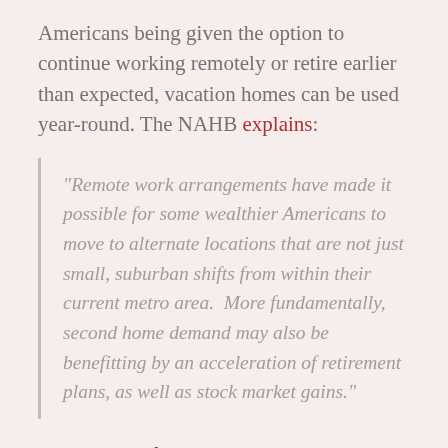Americans being given the option to continue working remotely or retire earlier than expected, vacation homes can be used year-round. The NAHB explains:
"Remote work arrangements have made it possible for some wealthier Americans to move to alternate locations that are not just small, suburban shifts from within their current metro area.  More fundamentally, second home demand may also be benefitting by an acceleration of retirement plans, as well as stock market gains."
Bottom Line
The demand for vacation homes has increased...